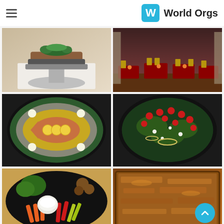World Orgs
[Figure (photo): A layered cake decorated with fresh mint and greenery on top, displayed on a silver stand against a white background]
[Figure (photo): A banquet hall set up for an event with red tablecloths, gold chiavari chairs, and table settings]
[Figure (photo): A decorative fish-shaped food platter on a black round tray, arranged with vegetables, lemon slices, eggs, corn, and other ingredients]
[Figure (photo): A salad platter on a black round tray with mixed greens, red raspberries, crumbled white cheese, and onion rings]
[Figure (photo): A vegetable crudité platter on a black round tray with broccoli, carrots, red peppers, celery, zucchini, mushrooms, and a dip container in the center]
[Figure (photo): A baking pan filled with a caramelized, saucy braised dish, possibly meat or potatoes, with a glossy brown sauce]